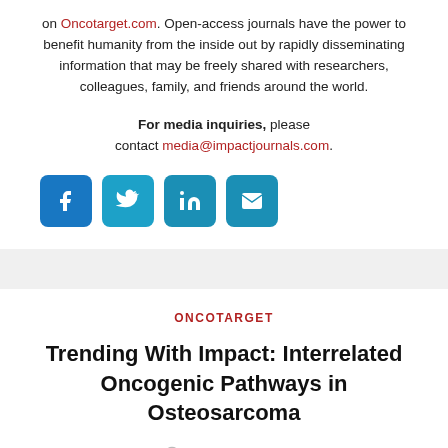on Oncotarget.com. Open-access journals have the power to benefit humanity from the inside out by rapidly disseminating information that may be freely shared with researchers, colleagues, family, and friends around the world.
For media inquiries, please contact media@impactjournals.com.
[Figure (infographic): Four social media icon buttons: Facebook, Twitter, LinkedIn, Email]
ONCOTARGET
Trending With Impact: Interrelated Oncogenic Pathways in Osteosarcoma
March 24, 2022